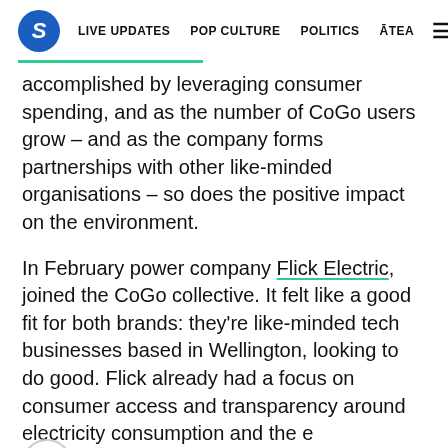S  LIVE UPDATES  POP CULTURE  POLITICS  ĀTEA  ☰
accomplished by leveraging consumer spending, and as the number of CoGo users grow – and as the company forms partnerships with other like-minded organisations – so does the positive impact on the environment.
In February power company Flick Electric, joined the CoGo collective. It felt like a good fit for both brands: they're like-minded tech businesses based in Wellington, looking to do good. Flick already had a focus on consumer access and transparency around electricity consumption and the environmental impacts of that consumption, but was looking to do more.